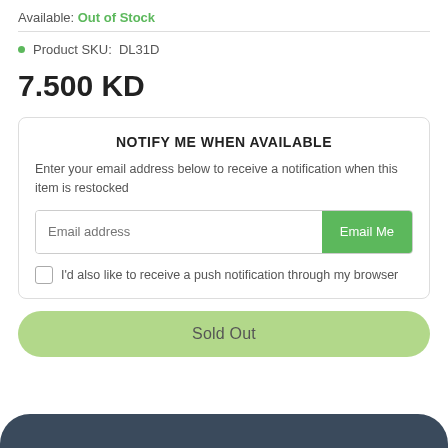Available: Out of Stock
Product SKU: DL31D
7.500 KD
NOTIFY ME WHEN AVAILABLE
Enter your email address below to receive a notification when this item is restocked
Email address
Email Me
I'd also like to receive a push notification through my browser
Sold Out